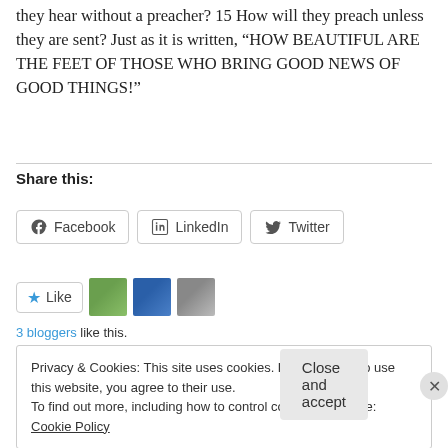they hear without a preacher? 15 How will they preach unless they are sent? Just as it is written, “HOW BEAUTIFUL ARE THE FEET OF THOSE WHO BRING GOOD NEWS OF GOOD THINGS!”
Share this:
Facebook | LinkedIn | Twitter
Like | [3 avatars]
3 bloggers like this.
Privacy & Cookies: This site uses cookies. By continuing to use this website, you agree to their use.
To find out more, including how to control cookies, see here: Cookie Policy
Close and accept